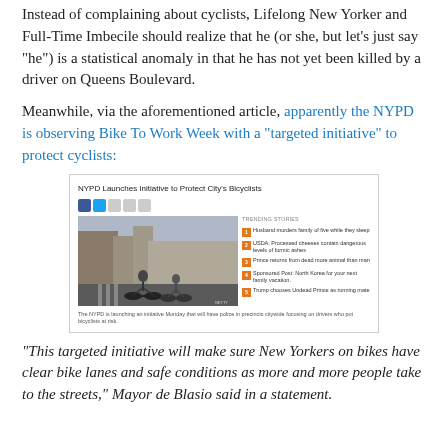Instead of complaining about cyclists, Lifelong New Yorker and Full-Time Imbecile should realize that he (or she, but let's just say "he") is a statistical anomaly in that he has not yet been killed by a driver on Queens Boulevard.
Meanwhile, via the aforementioned article, apparently the NYPD is observing Bike To Work Week with a "targeted initiative" to protect cyclists:
[Figure (screenshot): Screenshot of a news article titled 'NYPD Launches Initiative to Protect City's Bicyclists' showing cyclists riding on a city street, with social media share icons, and a trending stories sidebar with 5 items. Caption reads: 'The NYPD is launching an initiative Monday that will have police in precincts citywide focusing on drivers who put bicyclists at risk.']
"This targeted initiative will make sure New Yorkers on bikes have clear bike lanes and safe conditions as more and more people take to the streets," Mayor de Blasio said in a statement.